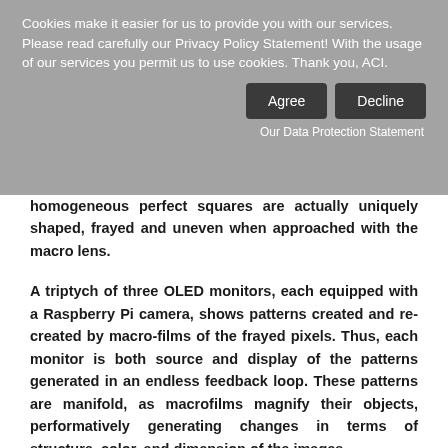Cookies make it easier for us to provide you with our services. Please read carefully our Privacy Policy Statement! With the usage of our services you permit us to use cookies. Thank you, ACI.
Agree | Decline
Our Data Protection Statement
homogeneous perfect squares are actually uniquely shaped, frayed and uneven when approached with the macro lens.
A triptych of three OLED monitors, each equipped with a Raspberry Pi camera, shows patterns created and re-created by macro-films of the frayed pixels. Thus, each monitor is both source and display of the patterns generated in an endless feedback loop. These patterns are manifold, as macrofilms magnify their objects, performatively generating changes in terms of structure, color, and dimension of the images.